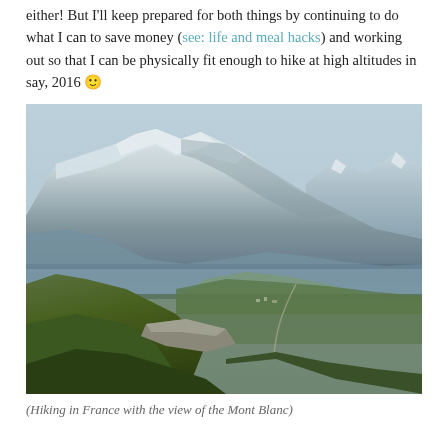either! But I'll keep prepared for both things by continuing to do what I can to save money (see: life and meal hacks) and working out so that I can be physically fit enough to hike at high altitudes in say, 2016 🙂
[Figure (photo): Mountain landscape photo showing snow-capped peaks of Mont Blanc in the background with hazy blue sky, green grassy hillside in the foreground with a rocky ledge, and a valley with a town and winding road visible below.]
(Hiking in France with the view of the Mont Blanc)